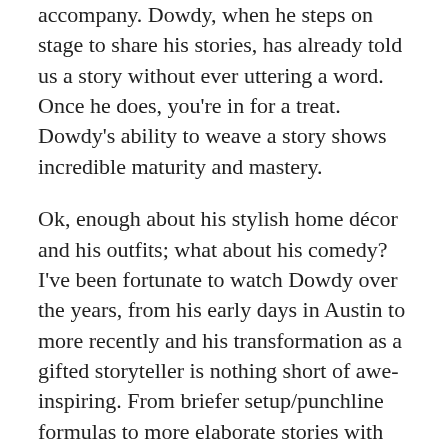accompany. Dowdy, when he steps on stage to share his stories, has already told us a story without ever uttering a word. Once he does, you're in for a treat. Dowdy's ability to weave a story shows incredible maturity and mastery.
Ok, enough about his stylish home décor and his outfits; what about his comedy? I've been fortunate to watch Dowdy over the years, from his early days in Austin to more recently and his transformation as a gifted storyteller is nothing short of awe-inspiring. From briefer setup/punchline formulas to more elaborate stories with frequent punchlines, it's clear Dowdy has worked very hard to become a better performer. And in the midst of me gushing about how great he was the last few times, he admits "I'm the last person in the world to give myself a compliment. But I will give myself limited credibility and just say that I've done nothing else but comedy." There's more to it than just hard work. Part of his recent success is due